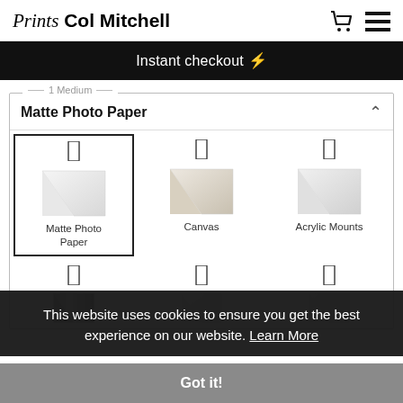Prints Col Mitchell
Instant checkout ⚡
1 Medium
Matte Photo Paper
[Figure (other): Grid of print medium options: Matte Photo Paper (selected), Canvas, Acrylic Mounts, and three more partially visible below]
This website uses cookies to ensure you get the best experience on our website. Learn More
Got it!